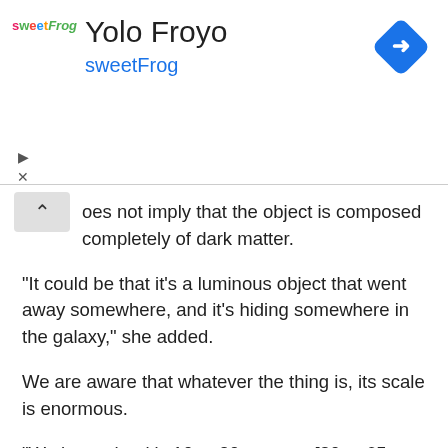[Figure (screenshot): Advertisement banner for 'Yolo Froyo' at sweetFrog with logo, title, subtitle, and a blue diamond navigation/directions icon in the top right corner. Play and close ad controls visible at bottom left of banner.]
oes not imply that the object is composed completely of dark matter.
“It could be that it’s a luminous object that went away somewhere, and it’s hiding somewhere in the galaxy,” she added.
We are aware that whatever the thing is, its scale is enormous.
“We know that it’s 10 to 20 parsecs [30 to 65 light-years] across,” Bonaca revealed. “About the size of a globular cluster.”